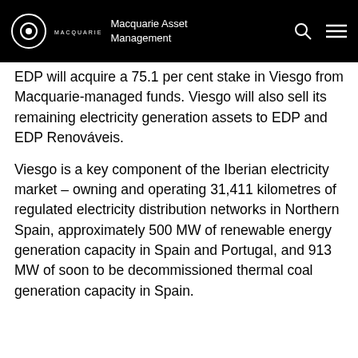Macquarie Asset Management
EDP will acquire a 75.1 per cent stake in Viesgo from Macquarie-managed funds. Viesgo will also sell its remaining electricity generation assets to EDP and EDP Renováveis.
Viesgo is a key component of the Iberian electricity market – owning and operating 31,411 kilometres of regulated electricity distribution networks in Northern Spain, approximately 500 MW of renewable energy generation capacity in Spain and Portugal, and 913 MW of soon to be decommissioned thermal coal generation capacity in Spain.